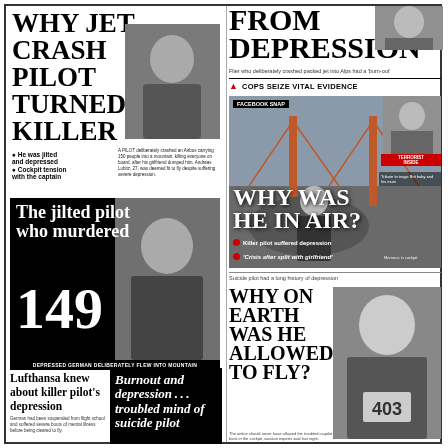WHY JET CRASH PILOT TURNED KILLER
He was jilted and depressed
Cockpit tension with the captain
[Figure (photo): Photo of Andreas Lubitz seated outdoors]
[Figure (photo): Photo of pilot outdoors near bridge - The jilted pilot who murdered 149]
DEPRESSED GERMAN DELIBERATELY FLEW INTO MOUNTAIN
Lufthansa knew about killer pilot's depression
Burnout and depression ... troubled mind of suicide pilot
FROM DEPRESSION
Flier who deliberately crashed packed jet into Alps had a 'burn-out'
COPS SEIZE VITAL EVIDENCE
FACEBOOK SNAP
WHY WAS HE IN AIR?
Killer pilot suffered depression
'Crisis after split with girlfriend'
Suicide pilot had a long history of depression
WHY ON EARTH WAS HE ALLOWED TO FLY?